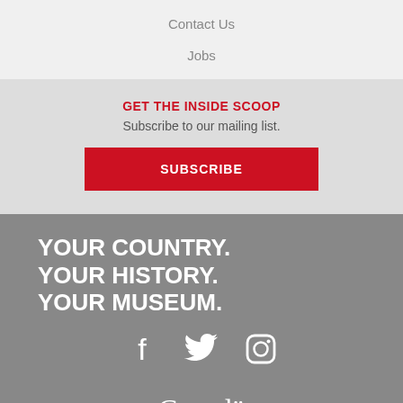Contact Us
Jobs
GET THE INSIDE SCOOP
Subscribe to our mailing list.
SUBSCRIBE
YOUR COUNTRY.
YOUR HISTORY.
YOUR MUSEUM.
[Figure (logo): Social media icons: Facebook, Twitter, Instagram]
[Figure (logo): Canada wordmark logo]
© Canadian Museum of History